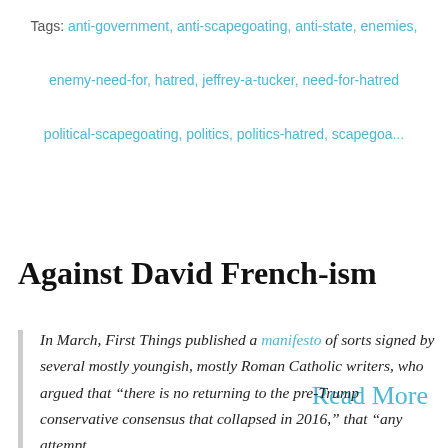Tags: anti-government, anti-scapegoating, anti-state, enemies,
enemy-need-for, hatred, jeffrey-a-tucker, need-for-hatred
political-scapegoating, politics, politics-hatred, scapegoating
Read More
Against David French-ism
In March, First Things published a manifesto of sorts signed by several mostly youngish, mostly Roman Catholic writers, who argued that “there is no returning to the pre-Trump conservative consensus that collapsed in 2016,” that “any attempt